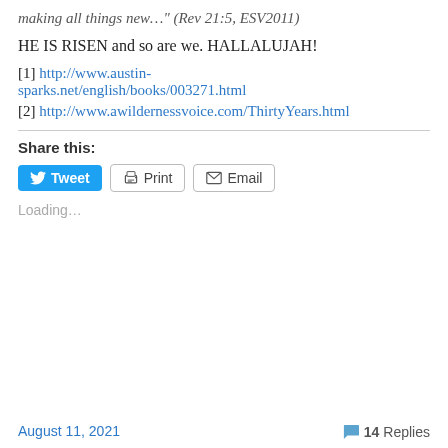making all things new…" (Rev 21:5, ESV2011)
HE IS RISEN and so are we. HALLALUJAH!
[1] http://www.austin-sparks.net/english/books/003271.html
[2] http://www.awildernessvoice.com/ThirtyYears.html
Share this:
Tweet  Print  Email
Loading…
August 11, 2021
14 Replies